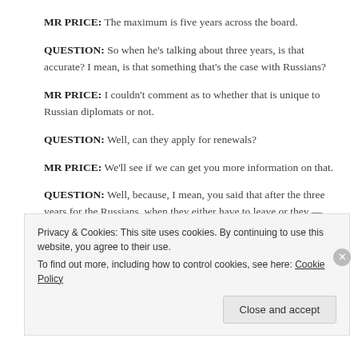MR PRICE: The maximum is five years across the board.
QUESTION: So when he’s talking about three years, is that accurate? I mean, is that something that’s the case with Russians?
MR PRICE: I couldn’t comment as to whether that is unique to Russian diplomats or not.
QUESTION: Well, can they apply for renewals?
MR PRICE: We’ll see if we can get you more information on that.
QUESTION: Well, because, I mean, you said that after the three years for the Russians, when they either have to leave or they —
Privacy & Cookies: This site uses cookies. By continuing to use this website, you agree to their use.
To find out more, including how to control cookies, see here: Cookie Policy
Close and accept